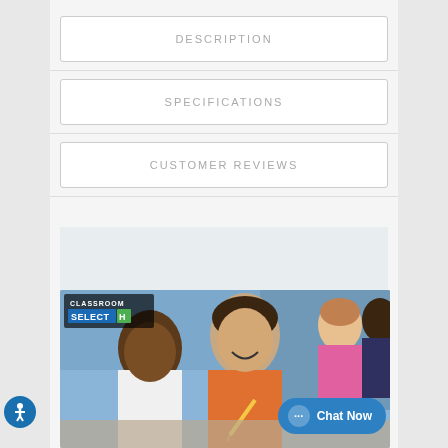DESCRIPTION
SPECIFICATIONS
CUSTOMER REVIEWS
[Figure (photo): Children working together in a classroom setting. Two boys in the foreground, one in an orange shirt smiling, one in white. Girls in the background. Classroom Select badge overlay in top left. Chat Now button overlay bottom right.]